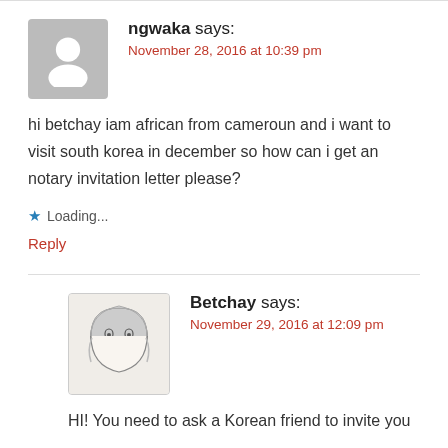ngwaka says:
November 28, 2016 at 10:39 pm
hi betchay iam african from cameroun and i want to visit south korea in december so how can i get an notary invitation letter please?
Loading...
Reply
Betchay says:
November 29, 2016 at 12:09 pm
HI! You need to ask a Korean friend to invite you